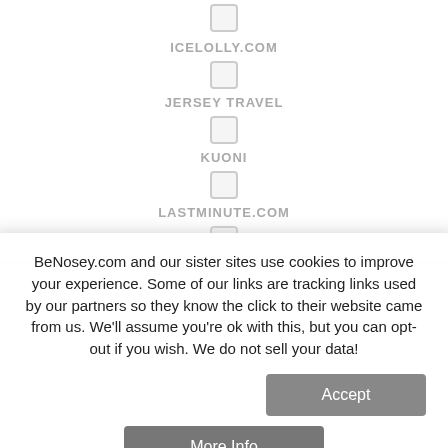ICELOLLY.COM
JERSEY TRAVEL
KUONI
LASTMINUTE.COM
BeNosey.com and our sister sites use cookies to improve your experience. Some of our links are tracking links used by our partners so they know the click to their website came from us. We'll assume you're ok with this, but you can opt-out if you wish. We do not sell your data!
Accept
More Info